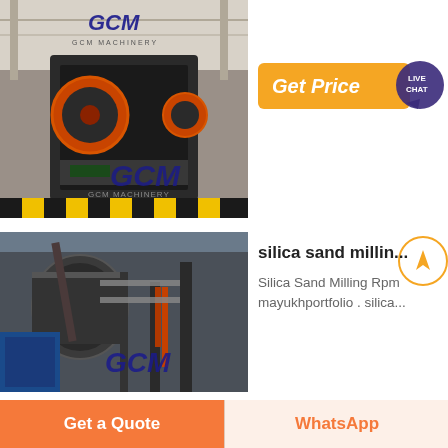[Figure (photo): GCM Machinery industrial crusher machine in factory setting, top image with GCM logo watermark]
[Figure (photo): GCM Machinery large industrial milling/grinding equipment outdoors, bottom image with GCM logo watermark]
[Figure (infographic): Orange 'Get Price' button with Live Chat speech bubble icon]
silica sand millin...
Silica Sand Milling Rpm mayukhportfolio . silica...
Get a Quote
WhatsApp